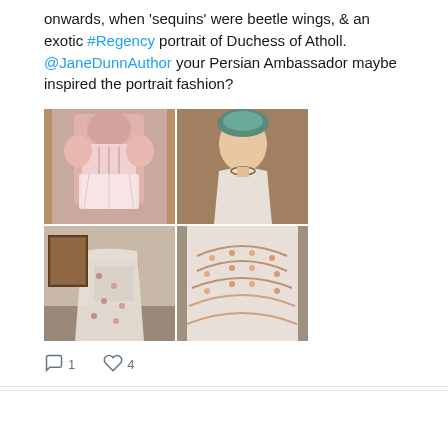onwards, when 'sequins' were beetle wings, & an exotic #Regency portrait of Duchess of Atholl. @JaneDunnAuthor your Persian Ambassador maybe inspired the portrait fashion?
[Figure (photo): Four-image grid: top-left shows a pink Regency-era dress on a mannequin; top-right shows a portrait painting of the Duchess of Atholl wearing a turban; bottom-left shows a white floral embroidered gown in a room with a fireplace; bottom-right shows a close-up of an embroidered white gown with floral detail.]
1 reply, 4 likes